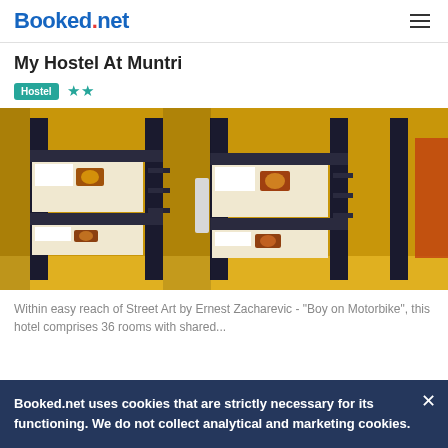Booked.net
My Hostel At Muntri
Hostel ★★
[Figure (photo): Interior photo of hostel bunk beds with yellow walls, dark metal bunk bed frames, white bedding, and decorative pillows]
Within easy reach of Street Art by Ernest Zacharevic - "Boy on Motorbike", this hotel comprises 36 rooms with shared...
Booked.net uses cookies that are strictly necessary for its functioning. We do not collect analytical and marketing cookies.